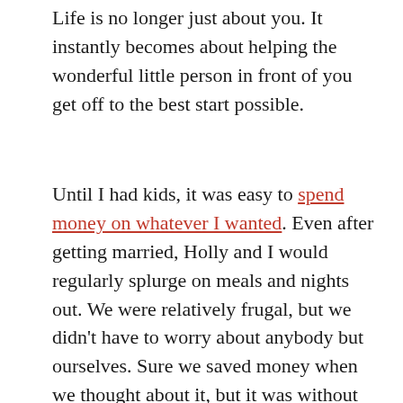Life is no longer just about you. It instantly becomes about helping the wonderful little person in front of you get off to the best start possible.
Until I had kids, it was easy to spend money on whatever I wanted. Even after getting married, Holly and I would regularly splurge on meals and nights out. We were relatively frugal, but we didn't have to worry about anybody but ourselves. Sure we saved money when we thought about it, but it was without regularity or purpose.
After having kids, saving money suddenly became crucial. We had young mouths to feed,